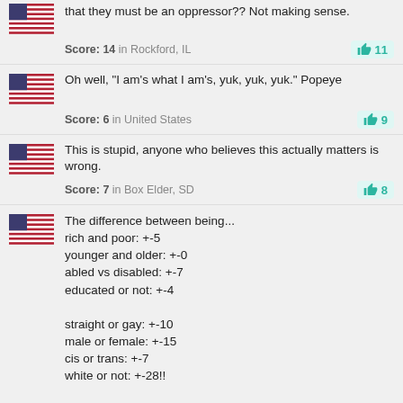that they must be an oppressor?? Not making sense.
Score: 14 in Rockford, IL | 11
Oh well, "I am's what I am's, yuk, yuk, yuk." Popeye
Score: 6 in United States | 9
This is stupid, anyone who believes this actually matters is wrong.
Score: 7 in Box Elder, SD | 8
The difference between being...
rich and poor: +-5
younger and older: +-0
abled vs disabled: +-7
educated or not: +-4

straight or gay: +-10
male or female: +-15
cis or trans: +-7
white or not: +-28!!

Who decided these ridiculous weightings? When ideology poses as sociology, all you get is pseudoscience.
Score: 87 in Louisville, KY | 143